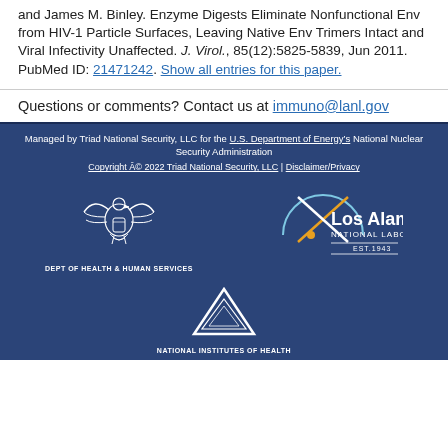and James M. Binley. Enzyme Digests Eliminate Nonfunctional Env from HIV-1 Particle Surfaces, Leaving Native Env Trimers Intact and Viral Infectivity Unaffected. J. Virol., 85(12):5825-5839, Jun 2011. PubMed ID: 21471242. Show all entries for this paper.
Questions or comments? Contact us at immuno@lanl.gov
Managed by Triad National Security, LLC for the U.S. Department of Energyâs National Nuclear Security Administration
Copyright Â© 2022 Triad National Security, LLC | Disclaimer/Privacy
[Figure (logo): Dept of Health & Human Services eagle logo with text DEPT OF HEALTH & HUMAN SERVICES]
[Figure (logo): Los Alamos National Laboratory logo with text Los Alamos NATIONAL LABORATORY EST.1943]
[Figure (logo): National Institutes of Health logo with text NATIONAL INSTITUTES OF HEALTH]